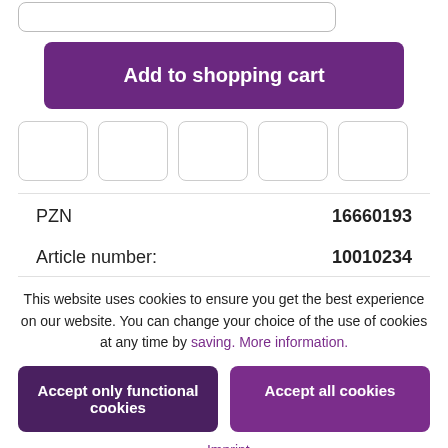[Figure (screenshot): Input field with partial content visible at top]
Add to shopping cart
[Figure (other): Row of 5 empty icon/logo boxes]
| PZN | 16660193 |
| Article number: | 10010234 |
This website uses cookies to ensure you get the best experience on our website. You can change your choice of the use of cookies at any time by saving. More information.
Accept only functional cookies
Accept all cookies
- Imprint